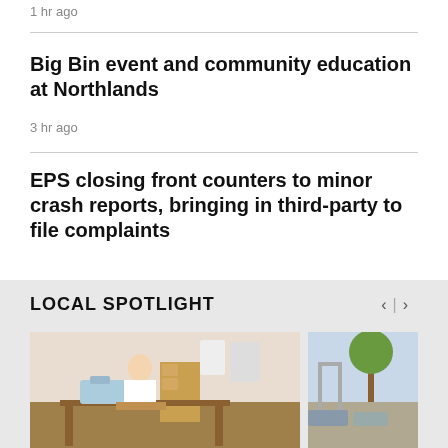1 hr ago
Big Bin event and community education at Northlands
3 hr ago
EPS closing front counters to minor crash reports, bringing in third-party to file complaints
LOCAL SPOTLIGHT
[Figure (photo): Woman sewing at a sewing machine indoors]
[Figure (photo): Outdoor scene with trees and a structure]